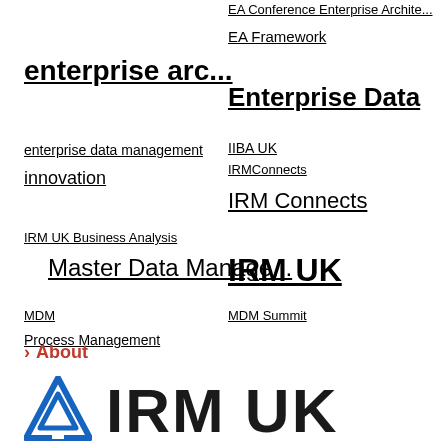enterprise arc...
enterprise data management
innovation
IRM UK Business Analysis
Master Data Manage...
MDM
Process Management
EA Conference Enterprise Archite...
EA Framework
Enterprise Data
IIBA UK
IRMConnects
IRM Connects
IRM UK
MDM Summit
About
[Figure (logo): IRM UK logo with blue triangular icon and IRM UK text in dark letters]